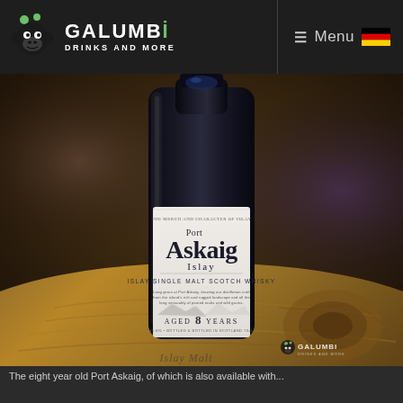GALUMBI DRINKS AND MORE | Menu
[Figure (photo): A bottle of Port Askaig Islay Single Malt Scotch Whisky Aged 8 Years, photographed on a wooden surface with a warm bokeh background. The bottle label is white with blue text reading 'Port Askaig Islay ISLAY SINGLE MALT SCOTCH WHISKY AGED 8 YEARS'. A Galumbi watermark is visible in the bottom right corner.]
The eight year old Port Askaig, of which is also available with...